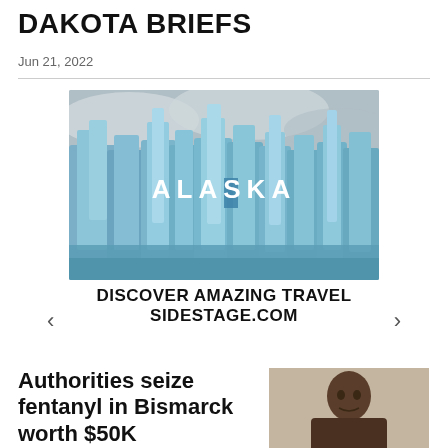DAKOTA BRIEFS
Jun 21, 2022
[Figure (photo): Advertisement banner showing glaciers in Alaska with text overlay 'ALASKA'. Below the image: 'DISCOVER AMAZING TRAVEL' and 'SIDESTAGE.COM']
Authorities seize fentanyl in Bismarck worth $50K